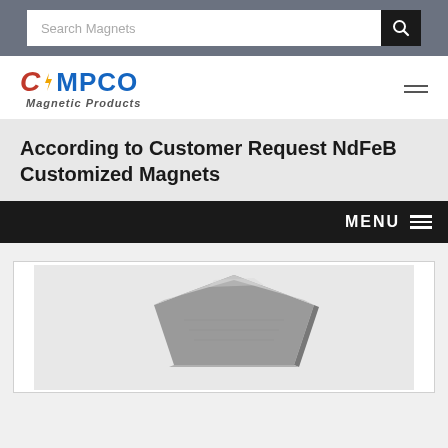Search Magnets
[Figure (logo): CMPCO Magnetic Products company logo with red stylized C, blue MPCO text, and italic 'Magnetic Products' subtitle]
According to Customer Request NdFeB Customized Magnets
MENU
[Figure (photo): Photo of NdFeB customized magnets - triangular/wedge shaped gray metallic magnet pieces]